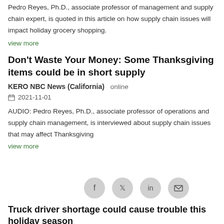Pedro Reyes, Ph.D., associate professor of management and supply chain expert, is quoted in this article on how supply chain issues will impact holiday grocery shopping.
view more
Don't Waste Your Money: Some Thanksgiving items could be in short supply
KERO NBC News (California)   online
2021-11-01
AUDIO: Pedro Reyes, Ph.D., associate professor of operations and supply chain management, is interviewed about supply chain issues that may affect Thanksgiving
view more
Truck driver shortage could cause trouble this holiday season